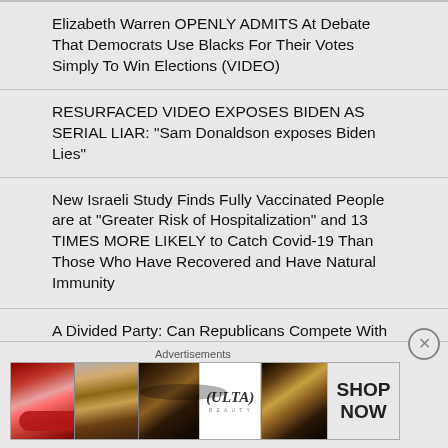Elizabeth Warren OPENLY ADMITS At Debate That Democrats Use Blacks For Their Votes Simply To Win Elections (VIDEO)
RESURFACED VIDEO EXPOSES BIDEN AS SERIAL LIAR: "Sam Donaldson exposes Biden Lies"
New Israeli Study Finds Fully Vaccinated People are at "Greater Risk of Hospitalization" and 13 TIMES MORE LIKELY to Catch Covid-19 Than Those Who Have Recovered and Have Natural Immunity
A Divided Party: Can Republicans Compete With A Solidified Democratic Party?
Advertisements
[Figure (photo): Ulta Beauty advertisement banner showing cosmetics imagery including lips with lipstick, makeup brush, eye with eyeshadow, Ulta logo, another eye image, and SHOP NOW text]